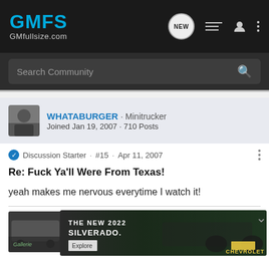GMFS GMfullsize.com
Search Community
WHATABURGER · Minitrucker
Joined Jan 19, 2007 · 710 Posts
Discussion Starter · #15 · Apr 11, 2007
Re: Fuck Ya'll Were From Texas!
yeah makes me nervous everytime I watch it!
[Figure (screenshot): Chevrolet Silverado 2022 advertisement banner with vehicle image and text 'THE NEW 2022 SILVERADO.' with Explore button and Chevrolet logo]